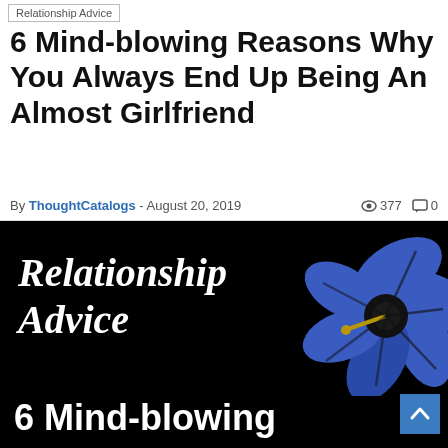Relationship Advice
6 Mind-blowing Reasons Why You Always End Up Being An Almost Girlfriend
By ThoughtCatalogs - August 20, 2019  377  0
[Figure (illustration): Black background image with 'Relationship Advice' in white italic script font, a blue hibiscus flower in the upper right, and '6 Mind-blowing' in white bold text at the bottom. A blue back-to-top arrow button is in the lower right corner.]